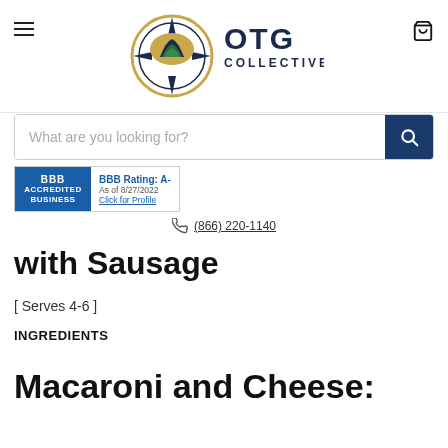[Figure (logo): OTG Collective logo with compass rose icon and dark navy text]
What are you looking for?
[Figure (logo): BBB Accredited Business badge with Rating A- as of 8/27/2022, Click for Profile]
(866) 220-1140
with Sausage
[ Serves 4-6 ]
INGREDIENTS
Macaroni and Cheese: